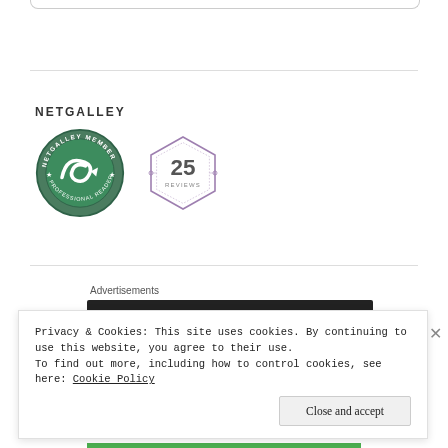NETGALLEY
[Figure (logo): NetGalley Member Professional Reader circular badge in green and white with arrow logo]
[Figure (logo): NetGalley 25 Reviews hexagon badge in purple/grey outline]
Advertisements
[Figure (screenshot): Dark WordPress advertisement banner]
Privacy & Cookies: This site uses cookies. By continuing to use this website, you agree to their use.
To find out more, including how to control cookies, see here: Cookie Policy
Close and accept